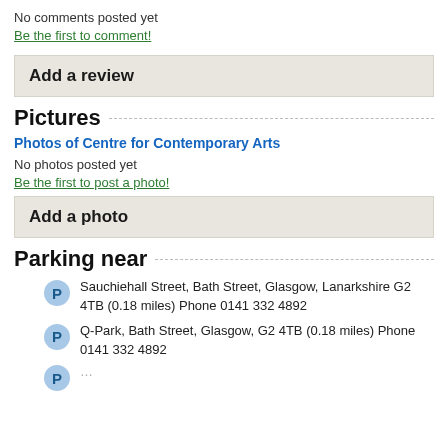No comments posted yet
Be the first to comment!
Add a review
Pictures
Photos of Centre for Contemporary Arts
No photos posted yet
Be the first to post a photo!
Add a photo
Parking near
Sauchiehall Street, Bath Street, Glasgow, Lanarkshire G2 4TB (0.18 miles) Phone 0141 332 4892
Q-Park, Bath Street, Glasgow, G2 4TB (0.18 miles) Phone 0141 332 4892